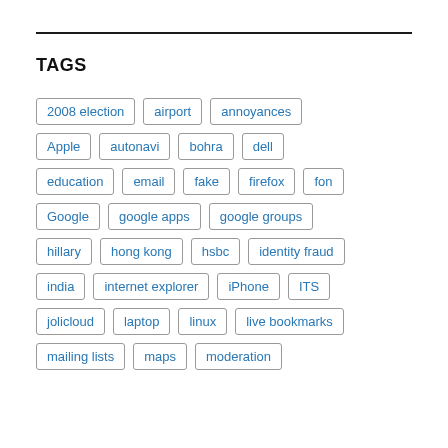TAGS
2008 election
airport
annoyances
Apple
autonavi
bohra
dell
education
email
fake
firefox
fon
Google
google apps
google groups
hillary
hong kong
hsbc
identity fraud
india
internet explorer
iPhone
ITS
jolicloud
laptop
linux
live bookmarks
mailing lists
maps
moderation